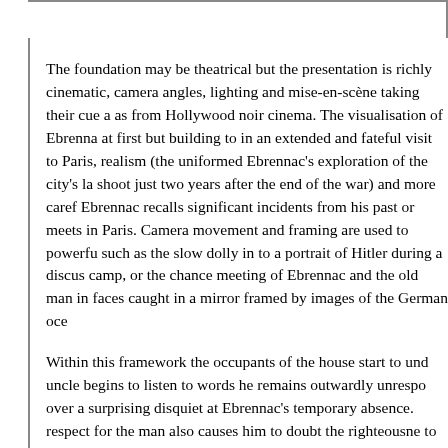The foundation may be theatrical but the presentation is richly cinematic, camera angles, lighting and mise-en-scène taking their cue as much from expressionism as from Hollywood noir cinema. The visualisation of Ebrennac's time in the house, muted at first but building to in an extended and fateful visit to Paris, combines documentary realism (the uniformed Ebrennac's exploration of the city's landmarks, filmed on location to shoot just two years after the end of the war) and more carefully staged scenes in which Ebrennac recalls significant incidents from his past or meets old friends and acquaintances in Paris. Camera movement and framing are used to powerful effect in specific scenes such as the slow dolly in to a portrait of Hitler during a discussion at Ebrennac's army camp, or the chance meeting of Ebrennac and the old man in a café, their contrasting faces caught in a mirror framed by images of the German occupation.
Within this framework the occupants of the house start to undergo change. The uncle begins to listen to words he remains outwardly unresponsive to, brooding over a surprising disquiet at Ebrennac's temporary absence. His growing respect for the man also causes him to doubt the righteousness of his niece's refusal to remark that "it pains me to offend anyone, even if he is an enemy". Her emotional connection is more complex, and one she later clearly regrets, her temporary escape caught in quiet but powerful close-up and forming her last gesture and her only audible word of dialogue. It's an extraordinary moment in French cinema, a reminder that film does not need to shout to exert considerable power.